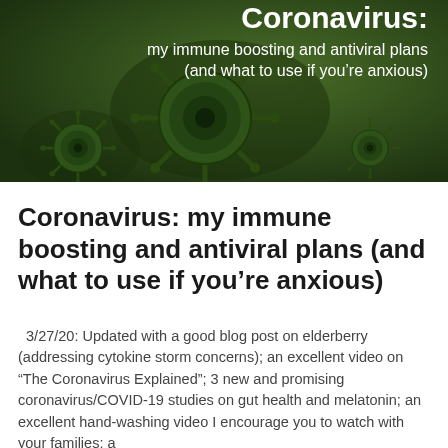[Figure (photo): Dark olive-green banner image showing illustrated coronavirus particles with spikes on a dark green background. White bold text overlaid reads: 'Coronavirus: my immune boosting and antiviral plans (and what to use if you're anxious)']
Coronavirus: my immune boosting and antiviral plans (and what to use if you're anxious)
3/27/20: Updated with a good blog post on elderberry (addressing cytokine storm concerns); an excellent video on “The Coronavirus Explained”; 3 new and promising coronavirus/COVID-19 studies on gut health and melatonin; an excellent hand-washing video I encourage you to watch with your families; a